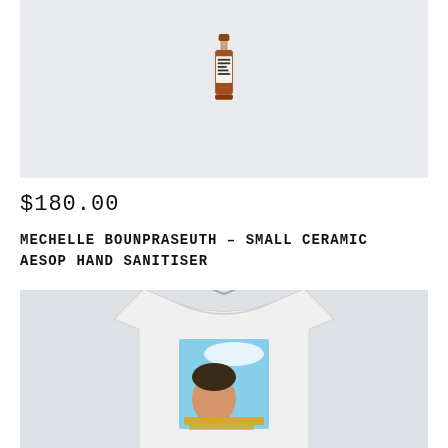[Figure (photo): Product photo of a small ceramic Aesop hand sanitiser bottle on a light grey/blue background]
$180.00
MECHELLE BOUNPRASEUTH – SMALL CERAMIC AESOP HAND SANITISER
[Figure (photo): White t-shirt on a hanger against a light grey background, featuring a graphic print with a face and sky imagery]